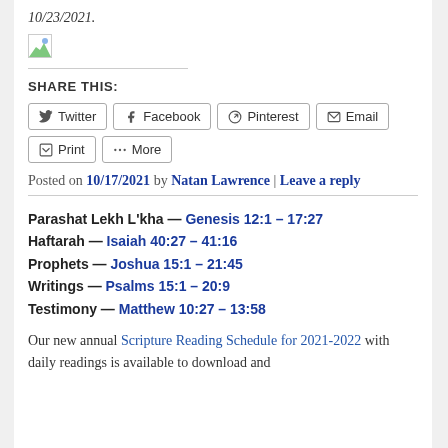10/23/2021.
[Figure (illustration): Broken/placeholder image icon (small image with landscape thumbnail)]
SHARE THIS:
Twitter | Facebook | Pinterest | Email | Print | More (share buttons)
Posted on 10/17/2021 by Natan Lawrence | Leave a reply
Parashat Lekh L'kha — Genesis 12:1 – 17:27
Haftarah — Isaiah 40:27 – 41:16
Prophets — Joshua 15:1 – 21:45
Writings — Psalms 15:1 – 20:9
Testimony — Matthew 10:27 – 13:58
Our new annual Scripture Reading Schedule for 2021-2022 with daily readings is available to download and